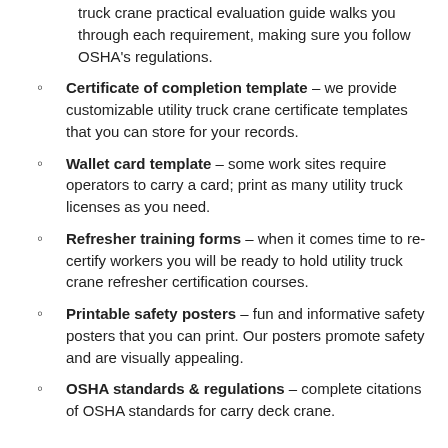truck crane practical evaluation guide walks you through each requirement, making sure you follow OSHA's regulations.
Certificate of completion template – we provide customizable utility truck crane certificate templates that you can store for your records.
Wallet card template – some work sites require operators to carry a card; print as many utility truck licenses as you need.
Refresher training forms – when it comes time to re-certify workers you will be ready to hold utility truck crane refresher certification courses.
Printable safety posters – fun and informative safety posters that you can print. Our posters promote safety and are visually appealing.
OSHA standards & regulations – complete citations of OSHA standards for carry deck crane.